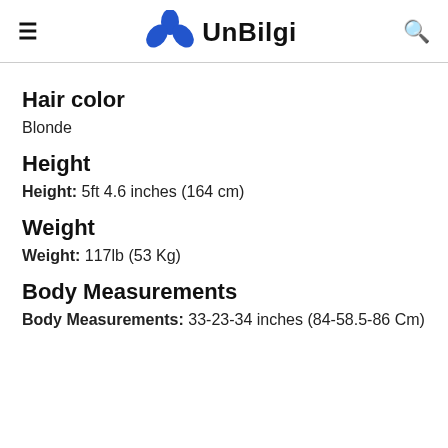UnBilgi
Hair color
Blonde
Height
Height: 5ft 4.6 inches (164 cm)
Weight
Weight: 117lb (53 Kg)
Body Measurements
Body Measurements: 33-23-34 inches (84-58.5-86 Cm)